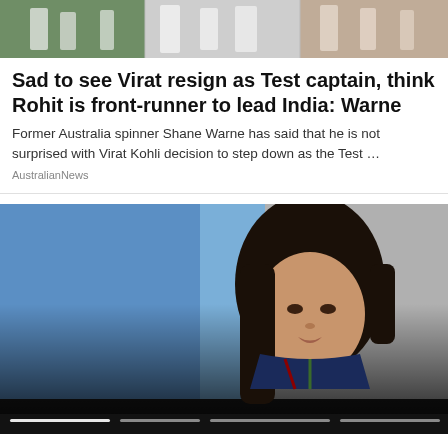[Figure (photo): Sports photo showing cricket players in white uniforms, split into multiple panels]
Sad to see Virat resign as Test captain, think Rohit is front-runner to lead India: Warne
Former Australia spinner Shane Warne has said that he is not surprised with Virat Kohli decision to step down as the Test ...
AustralianNews
[Figure (photo): Video thumbnail showing a young woman with long dark hair speaking, blue background, with video progress bar at bottom]